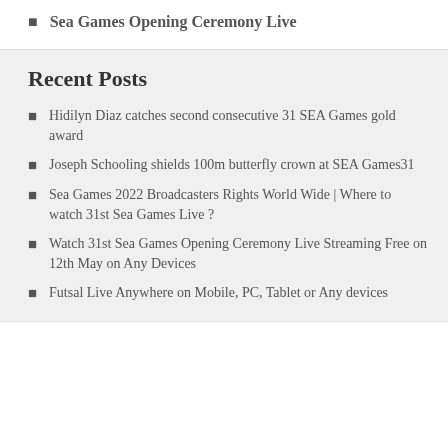Sea Games Opening Ceremony Live
Recent Posts
Hidilyn Diaz catches second consecutive 31 SEA Games gold award
Joseph Schooling shields 100m butterfly crown at SEA Games31
Sea Games 2022 Broadcasters Rights World Wide | Where to watch 31st Sea Games Live ?
Watch 31st Sea Games Opening Ceremony Live Streaming Free on 12th May on Any Devices
Futsal Live Anywhere on Mobile, PC, Tablet or Any devices